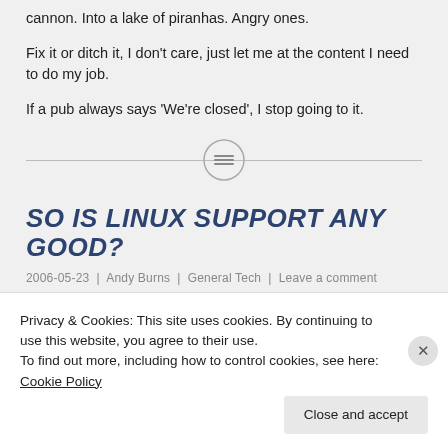cannon. Into a lake of piranhas. Angry ones.

Fix it or ditch it, I don't care, just let me at the content I need to do my job.

If a pub always says 'We're closed', I stop going to it.
[Figure (illustration): A horizontal dividing line with a centered circular icon containing three horizontal lines (hamburger/menu icon)]
SO IS LINUX SUPPORT ANY GOOD?
2006-05-23  |  Andy Burns  |  General Tech  |  Leave a comment
Privacy & Cookies: This site uses cookies. By continuing to use this website, you agree to their use.
To find out more, including how to control cookies, see here: Cookie Policy